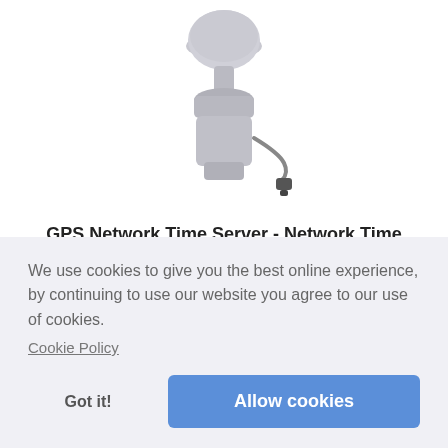[Figure (photo): GPS antenna/receiver device mounted on a base, with cable, gray color]
GPS Network Time Server - Network Time Synchronisation
External GPS antenna solution... The TC-100... ive
We use cookies to give you the best online experience, by continuing to use our website you agree to our use of cookies.
Cookie Policy
Got it!
Allow cookies